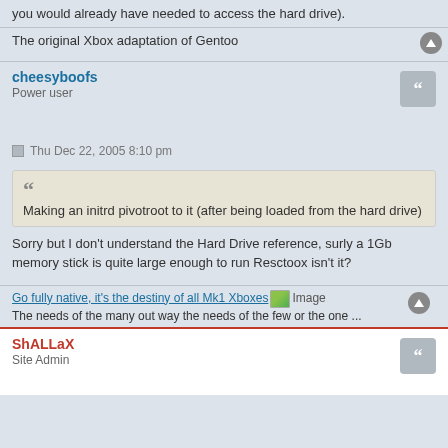you would already have needed to access the hard drive).
The original Xbox adaptation of Gentoo
cheesyboofs
Power user
Thu Dec 22, 2005 8:10 pm
Making an initrd pivotroot to it (after being loaded from the hard drive)
Sorry but I don't understand the Hard Drive reference, surly a 1Gb memory stick is quite large enough to run Resctoox isn't it?
Go fully native, it's the destiny of all Mk1 Xboxes [Image]
The needs of the many out way the needs of the few or the one ...
ShALLaX
Site Admin